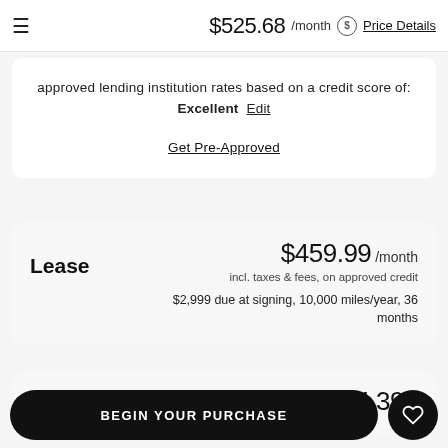$525.68 /month  Price Details
approved lending institution rates based on a credit score of: Excellent  Edit
Get Pre-Approved
Lease
$459.99 /month
incl. taxes & fees, on approved credit
$2,999 due at signing, 10,000 miles/year, 36 months
$34,398
BEGIN YOUR PURCHASE